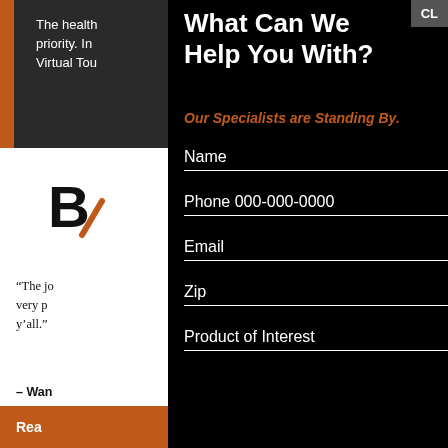The health... priority. In... Virtual Tour...
[Figure (logo): B letter logo with orange diagonal slash]
“The jo... very p... y’all.”
– Wan...
Rea...
What Can We Help You With?
Our Specialists are Standing By.
Name
Phone 000-000-0000
Email
Zip
Product of Interest